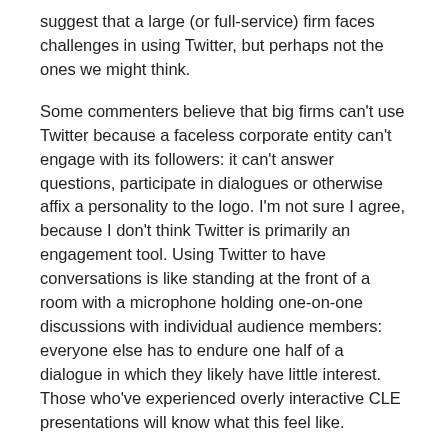suggest that a large (or full-service) firm faces challenges in using Twitter, but perhaps not the ones we might think.
Some commenters believe that big firms can't use Twitter because a faceless corporate entity can't engage with its followers: it can't answer questions, participate in dialogues or otherwise affix a personality to the logo. I'm not sure I agree, because I don't think Twitter is primarily an engagement tool. Using Twitter to have conversations is like standing at the front of a room with a microphone holding one-on-one discussions with individual audience members: everyone else has to endure one half of a dialogue in which they likely have little interest. Those who've experienced overly interactive CLE presentations will know what this feel like.
Instead, I think full-service firms struggle with Twitter precisely because they are full-service — their mandate is to be all things to everyone, or at least many things to many clients. Successful Twitter accounts are always about something in particular, whereas full-service firms are about legal services in general. Faced not with the problem of having too little to say but the challenge of having too much, full-service firms make the same error on Twitter that they often make elsewhere: the effect of